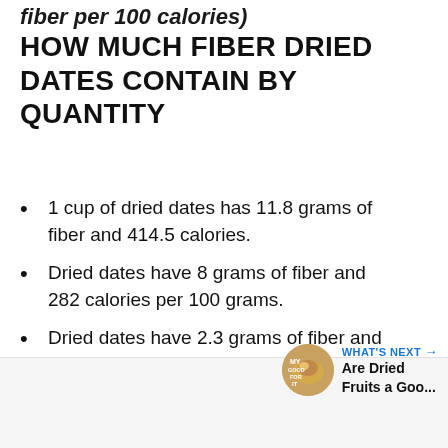fiber per 100 calories)
HOW MUCH FIBER DRIED DATES CONTAIN BY QUANTITY
1 cup of dried dates has 11.8 grams of fiber and 414.5 calories.
Dried dates have 8 grams of fiber and 282 calories per 100 grams.
Dried dates have 2.3 grams of fiber and 79.9 calories per oz.
[Figure (other): What's Next promotional thumbnail: circular food image with 'WHAT'S NEXT' label and 'Are Dried Fruits a Goo...' text link]